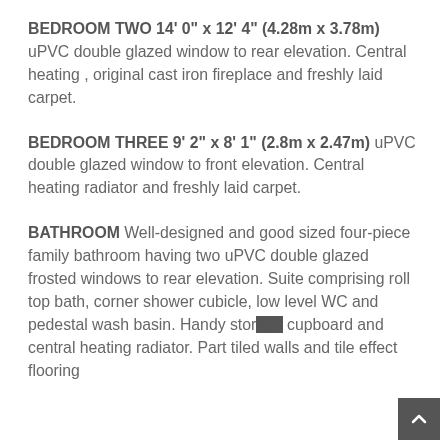BEDROOM TWO 14' 0" x 12' 4" (4.28m x 3.78m) uPVC double glazed window to rear elevation. Central heating , original cast iron fireplace and freshly laid carpet.
BEDROOM THREE 9' 2" x 8' 1" (2.8m x 2.47m) uPVC double glazed window to front elevation. Central heating radiator and freshly laid carpet.
BATHROOM Well-designed and good sized four-piece family bathroom having two uPVC double glazed frosted windows to rear elevation. Suite comprising roll top bath, corner shower cubicle, low level WC and pedestal wash basin. Handy storage cupboard and central heating radiator. Part tiled walls and tile effect flooring